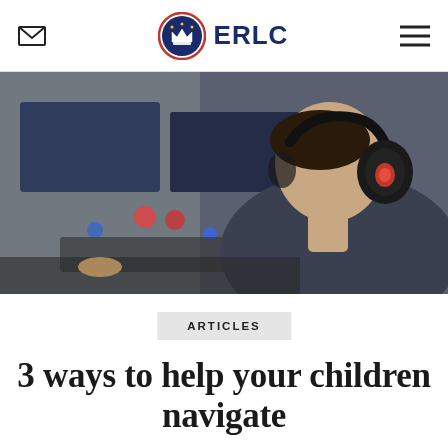ERLC
[Figure (photo): Person wearing large black headphones with red accents, sitting at a desk with a computer monitor and keyboard, viewed from behind/side at an angle. Blurred background with colored lights.]
ARTICLES
3 ways to help your children navigate